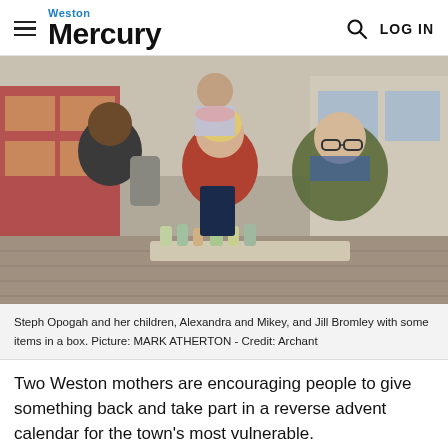Weston Mercury  LOG IN
[Figure (photo): Steph Opogah and her children Alexandra and Mikey and Jill Bromley with some items in a box, standing outdoors in a town centre setting]
Steph Opogah and her children, Alexandra and Mikey, and Jill Bromley with some items in a box. Picture: MARK ATHERTON - Credit: Archant
Two Weston mothers are encouraging people to give something back and take part in a reverse advent calendar for the town's most vulnerable.